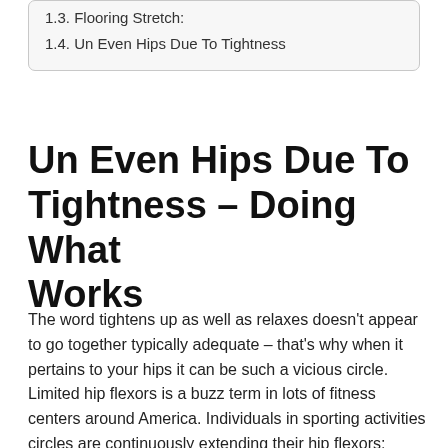1.3. Flooring Stretch:
1.4. Un Even Hips Due To Tightness
Un Even Hips Due To Tightness – Doing What Works
The word tightens up as well as relaxes doesn't appear to go together typically adequate – that's why when it pertains to your hips it can be such a vicious circle. Limited hip flexors is a buzz term in lots of fitness centers around America. Individuals in sporting activities circles are continuously extending their hip flexors; runners are criticizing their wonderful stride on those